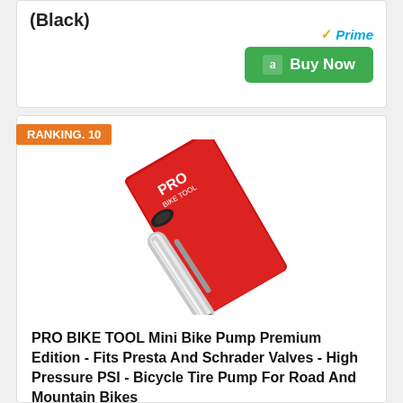(Black)
[Figure (other): Amazon Prime badge and Buy Now button]
RANKING. 10
[Figure (photo): PRO BIKE TOOL Mini Bike Pump product photo showing a silver metal mini pump with black handle against a red product card background]
PRO BIKE TOOL Mini Bike Pump Premium Edition - Fits Presta And Schrader Valves - High Pressure PSI - Bicycle Tire Pump For Road And Mountain Bikes